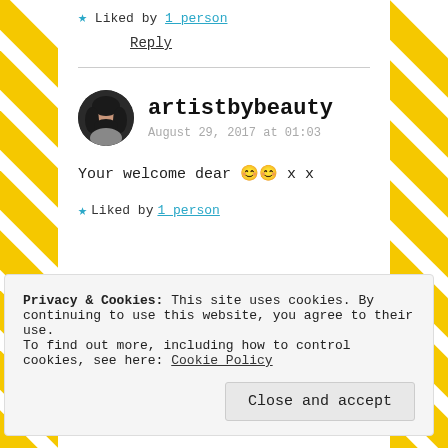★ Liked by 1 person
Reply
artistbybeauty
August 29, 2017 at 01:03
Your welcome dear 😊😊 x x
★ Liked by 1 person
Privacy & Cookies: This site uses cookies. By continuing to use this website, you agree to their use.
To find out more, including how to control cookies, see here: Cookie Policy